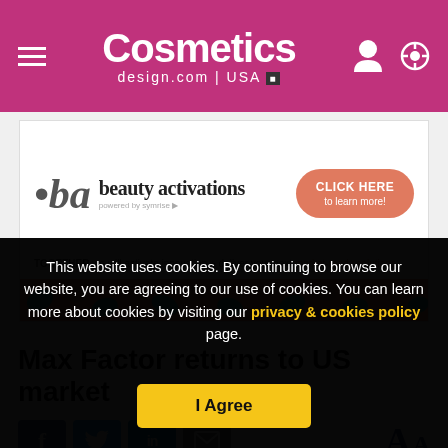Cosmetics design.com | USA
[Figure (screenshot): Beauty Activations advertisement banner with logo, 'CLICK HERE to learn more' button, tagline 'TOGETHER we will activate innovation + deliver your next market-ready solutions.', and decorative leaf pattern border]
Max Factor returns to US market
[Figure (infographic): Social share buttons: Facebook, Twitter, LinkedIn, Email icons, and font-size toggle buttons (large A, small A)]
This website uses cookies. By continuing to browse our website, you are agreeing to our use of cookies. You can learn more about cookies by visiting our privacy & cookies policy page.
I Agree